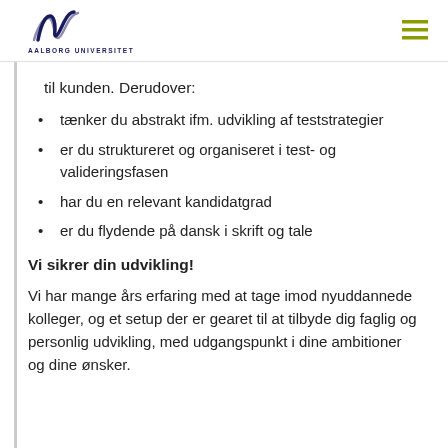AALBORG UNIVERSITET
til kunden. Derudover:
tænker du abstrakt ifm. udvikling af teststrategier
er du struktureret og organiseret i test- og valideringsfasen
har du en relevant kandidatgrad
er du flydende på dansk i skrift og tale
Vi sikrer din udvikling!
Vi har mange års erfaring med at tage imod nyuddannede kolleger, og et setup der er gearet til at tilbyde dig faglig og personlig udvikling, med udgangspunkt i dine ambitioner og dine ønsker.